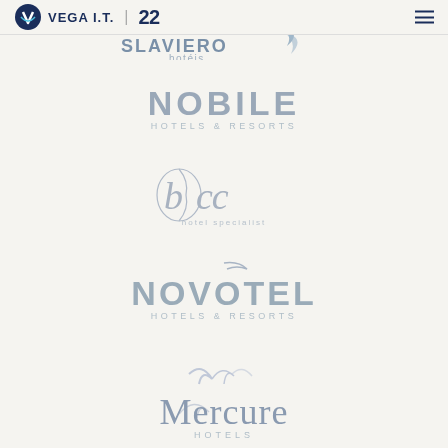VEGA I.T. | 22
[Figure (logo): Slaviero Hotéis logo — partially cropped at top of page, blue and gray text with leaf/swoosh graphic]
[Figure (logo): Nobile Hotels & Resorts logo — light gray/blue text, sans-serif]
[Figure (logo): bcc hotel specialist logo — elegant thin letterforms with circular graphic element]
[Figure (logo): Novotel Hotels & Resorts logo — gray-blue sans-serif with curved swoosh above]
[Figure (logo): Mercure Hotels logo — gray-blue serif wordmark with stylized 'm' monogram graphic]